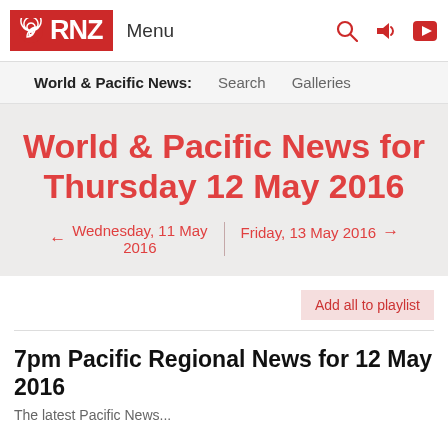RNZ — Menu
World & Pacific News:  Search  Galleries
World & Pacific News for Thursday 12 May 2016
← Wednesday, 11 May 2016 | Friday, 13 May 2016 →
Add all to playlist
7pm Pacific Regional News for 12 May 2016
The latest Pacific News...